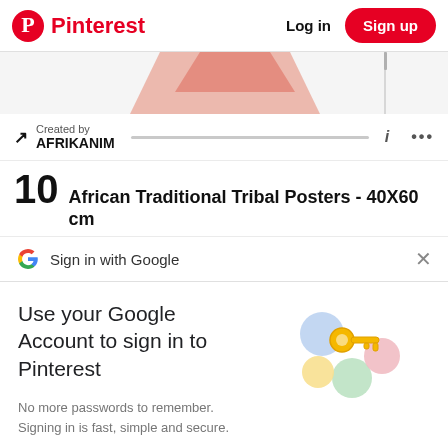Pinterest  Log in  Sign up
[Figure (screenshot): Partial image strip showing top of a colorful artwork, partially visible, cropped at bottom of image strip area]
Created by AFRIKANIM
African Traditional Tribal Posters - 40X60 cm
Sign in with Google
Use your Google Account to sign in to Pinterest
No more passwords to remember. Signing in is fast, simple and secure.
[Figure (illustration): Google sign-in key illustration with colorful circles and a gold key]
Continue